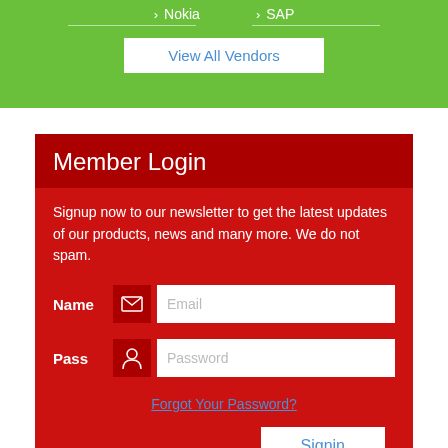› Nokia
› SAP
View All Vendors
Member Login
Signup now to our newsletter to get the latest updates of our products, news and many more. We do not spam.
Name  Email
Pass  Password
Forgot Your Password?
Signin